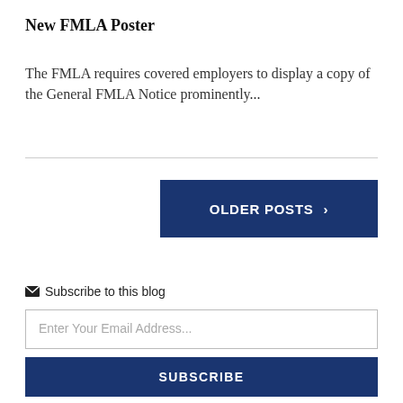New FMLA Poster
The FMLA requires covered employers to display a copy of the General FMLA Notice prominently...
OLDER POSTS ›
✉ Subscribe to this blog
Enter Your Email Address...
SUBSCRIBE